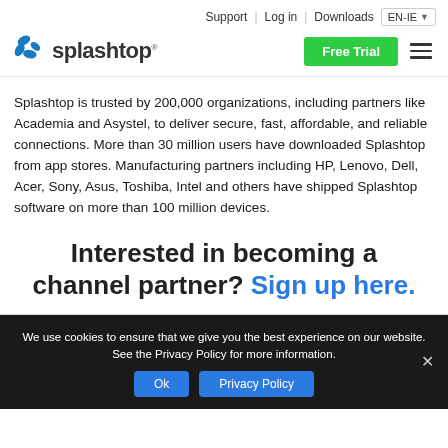Support | Log in | Downloads EN-IE
[Figure (logo): Splashtop logo with blue splash icon and the text 'splashtop' in dark grey]
Splashtop is trusted by 200,000 organizations, including partners like Academia and Asystel, to deliver secure, fast, affordable, and reliable connections. More than 30 million users have downloaded Splashtop from app stores. Manufacturing partners including HP, Lenovo, Dell, Acer, Sony, Asus, Toshiba, Intel and others have shipped Splashtop software on more than 100 million devices.
Interested in becoming a channel partner? Sign up here.
We use cookies to ensure that we give you the best experience on our website. See the Privacy Policy for more information.